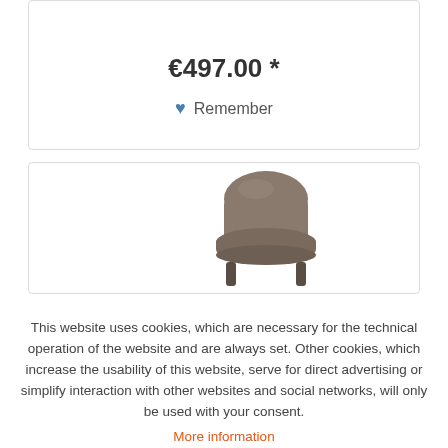€497.00 *
Remember
[Figure (photo): A brown upholstered chair photographed from a slightly elevated angle against a white background]
This website uses cookies, which are necessary for the technical operation of the website and are always set. Other cookies, which increase the usability of this website, serve for direct advertising or simplify interaction with other websites and social networks, will only be used with your consent.
More information
Decline
Configure